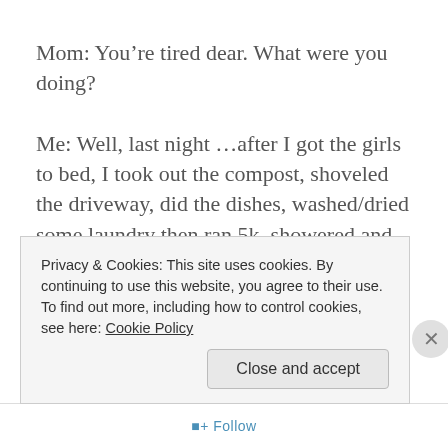Mom: You’re tired dear. What were you doing?
Me: Well, last night …after I got the girls to bed, I took out the compost, shoveled the driveway, did the dishes, washed/dried some laundry then ran 5k, showered and stretched.
Mom: While laughing, she replies with “you lost me a ran 5k”. You should really rest tonight, dear.
Me: Yawn… good idea Mom!
Privacy & Cookies: This site uses cookies. By continuing to use this website, you agree to their use.
To find out more, including how to control cookies, see here: Cookie Policy
Close and accept